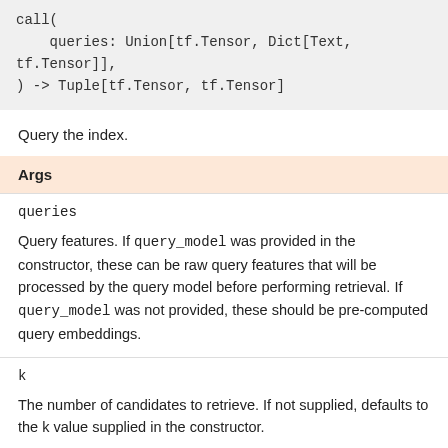call(
    queries: Union[tf.Tensor, Dict[Text, tf.Tensor]],
) -> Tuple[tf.Tensor, tf.Tensor]
Query the index.
| Args |
| --- |
| queries | Query features. If query_model was provided in the constructor, these can be raw query features that will be processed by the query model before performing retrieval. If query_model was not provided, these should be pre-computed query embeddings. |
| k | The number of candidates to retrieve. If not supplied, defaults to the k value supplied in the constructor. |
| Returns |
| --- |